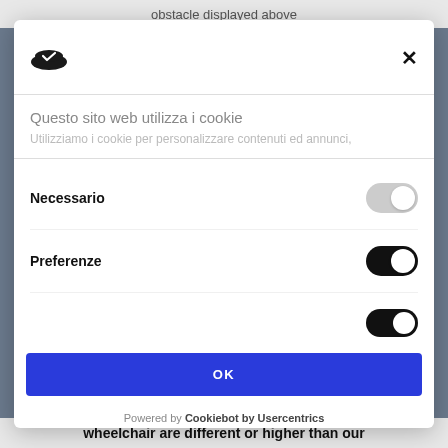obstacle displayed above
[Figure (screenshot): Cookie consent modal dialog with logo, close button, title 'Questo sito web utilizza i cookie', description text, toggle switches for Necessario (off) and Preferenze (on), OK button, and Cookiebot by Usercentrics powered-by footer]
wheelchair are different or higher than our